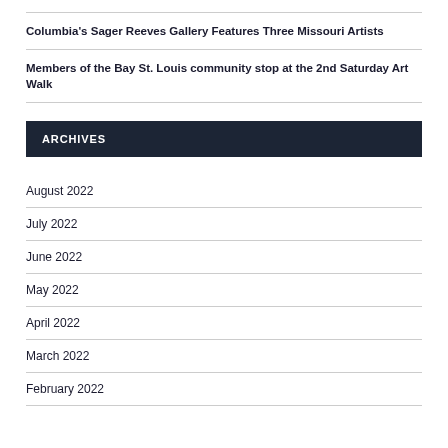Columbia's Sager Reeves Gallery Features Three Missouri Artists
Members of the Bay St. Louis community stop at the 2nd Saturday Art Walk
ARCHIVES
August 2022
July 2022
June 2022
May 2022
April 2022
March 2022
February 2022